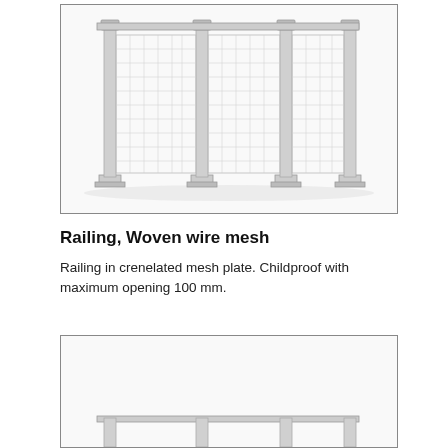[Figure (engineering-diagram): Front elevation of a woven wire mesh railing system with 4 vertical posts on base plates and wire mesh panels between posts, horizontal top rail.]
Railing, Woven wire mesh
Railing in crenelated mesh plate. Childproof with maximum opening 100 mm.
[Figure (engineering-diagram): Partial front elevation of a second railing system, cropped at bottom of page.]